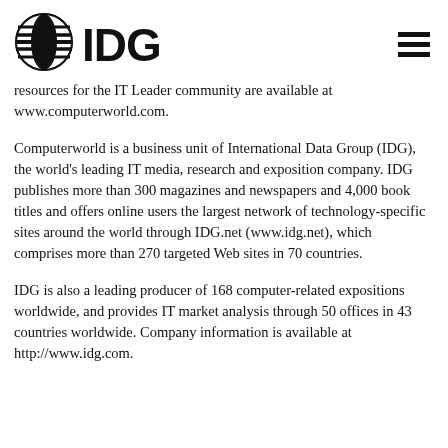[Figure (logo): IDG logo with globe icon on left and hamburger menu icon on right]
resources for the IT Leader community are available at www.computerworld.com.
Computerworld is a business unit of International Data Group (IDG), the world's leading IT media, research and exposition company. IDG publishes more than 300 magazines and newspapers and 4,000 book titles and offers online users the largest network of technology-specific sites around the world through IDG.net (www.idg.net), which comprises more than 270 targeted Web sites in 70 countries.
IDG is also a leading producer of 168 computer-related expositions worldwide, and provides IT market analysis through 50 offices in 43 countries worldwide. Company information is available at http://www.idg.com.